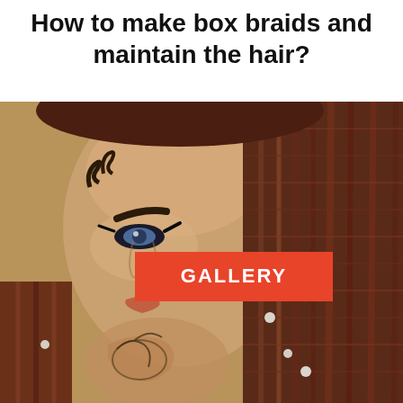How to make box braids and maintain the hair?
[Figure (photo): A woman with reddish-brown box braids and heavy eye makeup, tattoos on her neck and chest, with decorative swirl hair edges. A red GALLERY banner overlays the center of the image.]